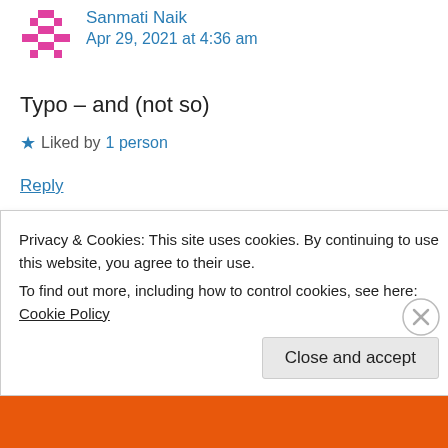Sanmati Naik — Apr 29, 2021 at 4:36 am
Typo – and (not so)
★ Liked by 1 person
Reply
Ayushi Gupta — Jul 1, 2021 at 5:37 am
Privacy & Cookies: This site uses cookies. By continuing to use this website, you agree to their use.
To find out more, including how to control cookies, see here: Cookie Policy
Close and accept